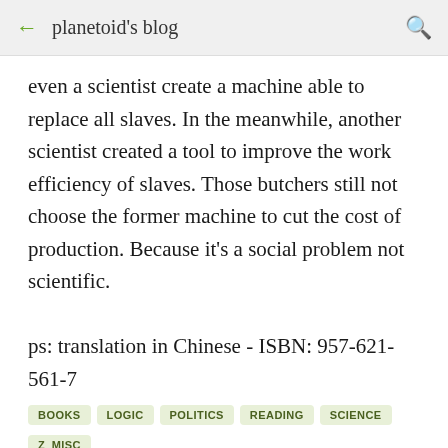← planetoid's blog 🔍
even a scientist create a machine able to replace all slaves. In the meanwhile, another scientist created a tool to improve the work efficiency of slaves. Those butchers still not choose the former machine to cut the cost of production. Because it's a social problem not scientific.
ps: translation in Chinese - ISBN: 957-621-561-7
BOOKS
LOGIC
POLITICS
READING
SCIENCE
Z_MISC